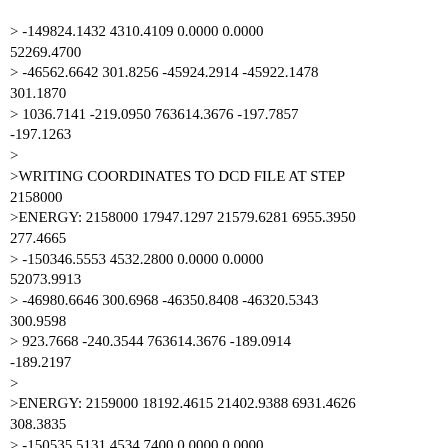&gt; -149824.1432 4310.4109 0.0000 0.0000 52269.4700
&gt; -46562.6642 301.8256 -45924.2914 -45922.1478 301.1870
&gt; 1036.7141 -219.0950 763614.3676 -197.7857 -197.1263
&gt;
&gt;WRITING COORDINATES TO DCD FILE AT STEP 2158000
&gt;ENERGY: 2158000 17947.1297 21579.6281 6955.3950 277.4665
&gt; -150346.5553 4532.2800 0.0000 0.0000 52073.9913
&gt; -46980.6646 300.6968 -46350.8408 -46320.5343 300.9598
&gt; 923.7668 -240.3544 763614.3676 -189.0914 -189.2197
&gt;
&gt;ENERGY: 2159000 18192.4615 21402.9388 6931.4626 308.3835
&gt; -150535.5131 4534.7400 0.0000 0.0000 51857.9411
&gt; -47307.5855 299.4492 -46669.4940 -46660.0231 300.3176
&gt; 808.6854 -256.0078 763614.3676 -197.2923